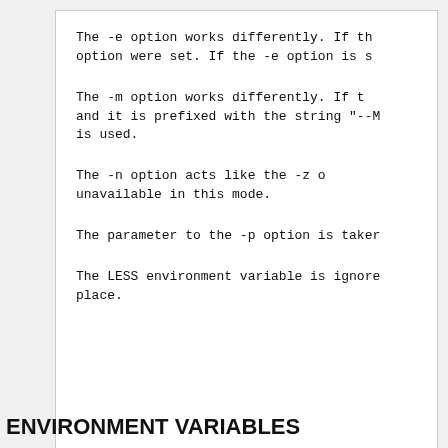The -e option works differently.  If th option were set.  If the -e option is s
The  -m option works differently.  If t and it is prefixed with the string "--M is used.
The  -n option  acts  like  the  -z  o unavailable in this mode.
The parameter to the -p option is taker
The LESS environment variable is ignore place.
ENVIRONMENT VARIABLES